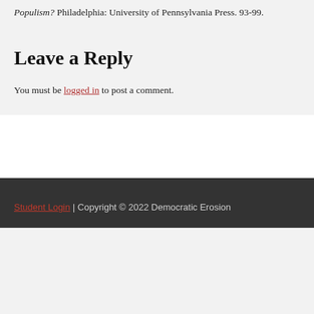Populism? Philadelphia: University of Pennsylvania Press. 93-99.
Leave a Reply
You must be logged in to post a comment.
Student Login | Copyright © 2022 Democratic Erosion